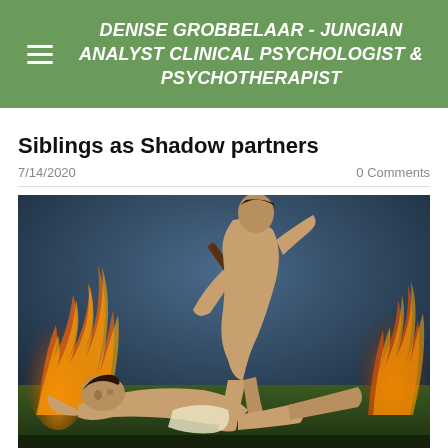DENISE GROBBELAAR - JUNGIAN ANALYST CLINICAL PSYCHOLOGIST & PSYCHOTHERAPIST
Siblings as Shadow partners
7/14/2020   0 Comments
[Figure (illustration): Classical oil painting depicting Cain and Abel — one muscular male figure raises a club over his head about to strike, while another male figure lies on the ground below him in a defensive position. Flames and dramatic sky in the background.]